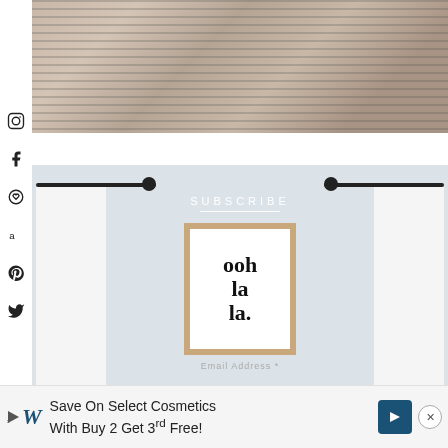[Figure (photo): Mirror selfie of person wearing striped shirt, bathroom setting with gold door knob visible]
[Figure (photo): Room interior with black curtain rods and white curtains, 'ooh la la' sign, pink flowers, and SUBSCRIBE text overlay with email address field]
[Figure (photo): Advertisement banner: Walgreens ad - Save On Select Cosmetics With Buy 2 Get 3rd Free!]